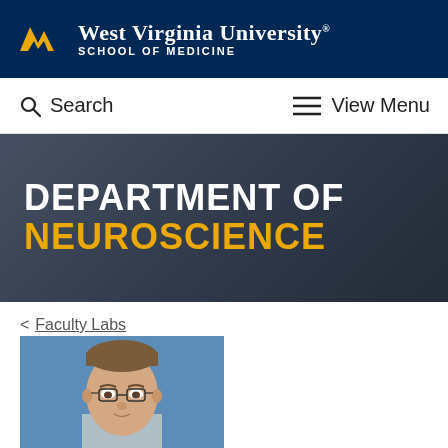West Virginia University. SCHOOL OF MEDICINE
Search   View Menu
DEPARTMENT OF NEUROSCIENCE
< Faculty Labs
[Figure (photo): Headshot photo of a male faculty member with short brown hair wearing glasses, against a blue background]